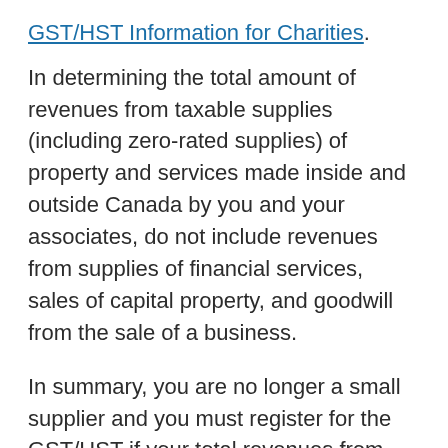GST/HST Information for Charities.
In determining the total amount of revenues from taxable supplies (including zero-rated supplies) of property and services made inside and outside Canada by you and your associates, do not include revenues from supplies of financial services, sales of capital property, and goodwill from the sale of a business.
In summary, you are no longer a small supplier and you must register for the GST/HST if your total revenues from taxable supplies are over $30,000